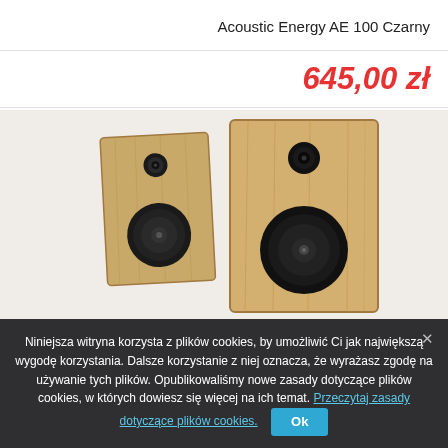Acoustic Energy AE 100 Czarny
645,00 zł
[Figure (photo): Two Acoustic Energy AE 100 bookshelf speakers in natural wood finish, positioned at an angle, showing woofer and tweeter drivers on the front baffles]
Niniejsza witryna korzysta z plików cookies, by umożliwić Ci jak największą wygodę korzystania. Dalsze korzystanie z niej oznacza, że wyrażasz zgodę na używanie tych plików. Opublikowaliśmy nowe zasady dotyczące plików cookies, w których dowiesz się więcej na ich temat. Przeczytaj zasady dotyczące plików cookies.
Ok